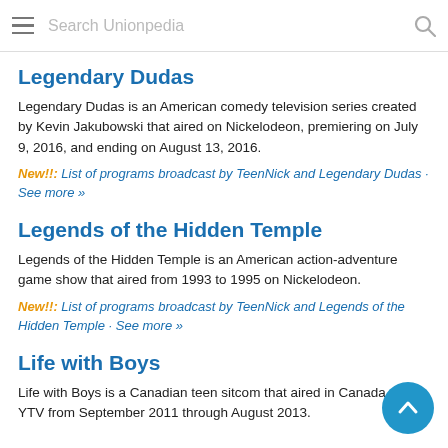Search Unionpedia
Legendary Dudas
Legendary Dudas is an American comedy television series created by Kevin Jakubowski that aired on Nickelodeon, premiering on July 9, 2016, and ending on August 13, 2016.
New!!: List of programs broadcast by TeenNick and Legendary Dudas · See more »
Legends of the Hidden Temple
Legends of the Hidden Temple is an American action-adventure game show that aired from 1993 to 1995 on Nickelodeon.
New!!: List of programs broadcast by TeenNick and Legends of the Hidden Temple · See more »
Life with Boys
Life with Boys is a Canadian teen sitcom that aired in Canada on YTV from September 2011 through August 2013.